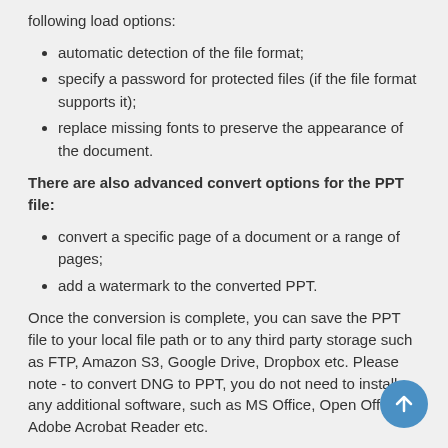following load options:
automatic detection of the file format;
specify a password for protected files (if the file format supports it);
replace missing fonts to preserve the appearance of the document.
There are also advanced convert options for the PPT file:
convert a specific page of a document or a range of pages;
add a watermark to the converted PPT.
Once the conversion is complete, you can save the PPT file to your local file path or to any third party storage such as FTP, Amazon S3, Google Drive, Dropbox etc. Please note - to convert DNG to PPT, you do not need to install any additional software, such as MS Office, Open Office, Adobe Acrobat Reader etc.